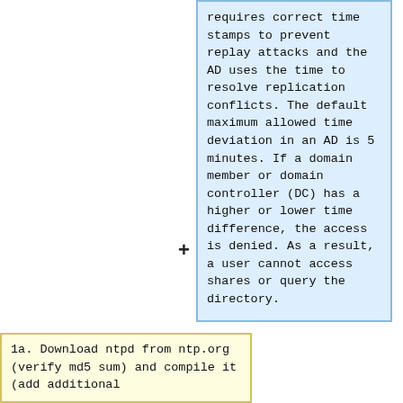requires correct time stamps to prevent replay attacks and the AD uses the time to resolve replication conflicts. The default maximum allowed time deviation in an AD is 5 minutes. If a domain member or domain controller (DC) has a higher or lower time difference, the access is denied. As a result, a user cannot access shares or query the directory.
1a. Download ntpd from ntp.org (verify md5 sum) and compile it (add additional